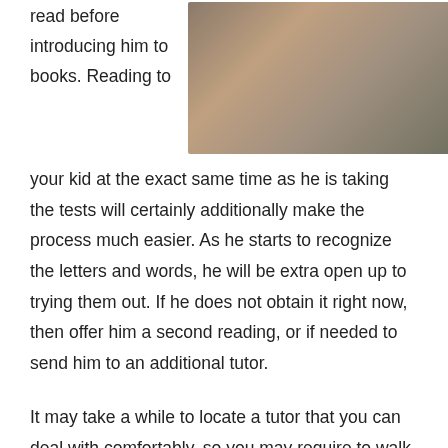read before introducing him to books.
[Figure (photo): Child in checkered shirt reading a colorful picture book]
Reading to your kid at the exact same time as he is taking the tests will certainly additionally make the process much easier. As he starts to recognize the letters and words, he will be extra open up to trying them out. If he does not obtain it right now, then offer him a second reading, or if needed to send him to an additional tutor.
It may take a while to locate a tutor that you can deal with comfortably, so you may require to walk around numerous tutors before discovering the one that is the ideal suitable for you. The very best way to locate a tutor is by asking your kid's schoolmates or pals if they can advise anyone that they used or would certainly suggest.
Below are some reading programs that have helped lots of children